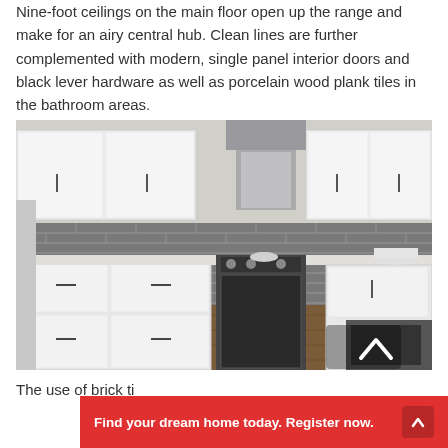Nine-foot ceilings on the main floor open up the range and make for an airy central hub. Clean lines are further complemented with modern, single panel interior doors and black lever hardware as well as porcelain wood plank tiles in the bathroom areas.
[Figure (photo): Modern kitchen interior with white flat-panel cabinets, grey tile backsplash, stainless steel range and hood vent, dark wood floors, and white quartz countertops with food and items on display.]
The use of brick ti
Find your dream home today. Register now.